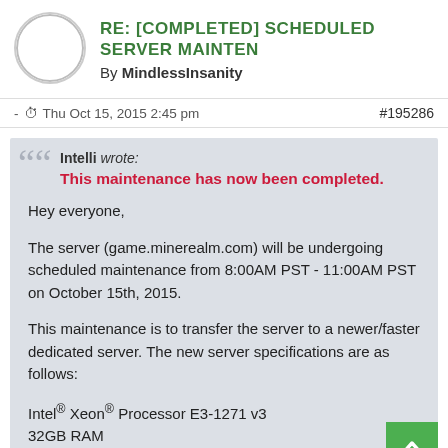RE: [COMPLETED] SCHEDULED SERVER MAINTENANCE
By MindlessInsanity
- Thu Oct 15, 2015 2:45 pm   #195286
Intelli wrote:
This maintenance has now been completed.

Hey everyone,

The server (game.minerealm.com) will be undergoing scheduled maintenance from 8:00AM PST - 11:00AM PST on October 15th, 2015.

This maintenance is to transfer the server to a newer/faster dedicated server. The new server specifications are as follows:

Intel® Xeon® Processor E3-1271 v3
32GB RAM
480GB SSD & 2TB HDD